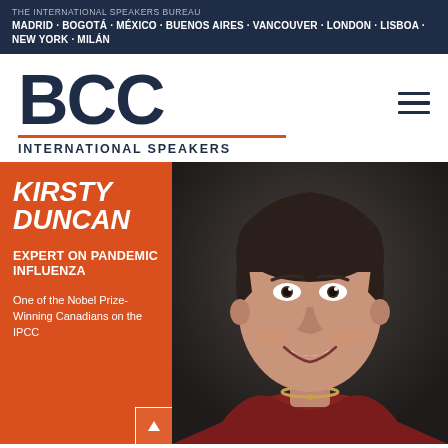THE INTERNATIONAL SPEAKERS BUREAU
MADRID · BOGOTÁ · MÉXICO · BUENOS AIRES · VANCOUVER · LONDON · LISBOA · NEW YORK · MILÁN
[Figure (logo): BCC International Speakers logo with large bold BCC text, orange underline, and subtitle INTERNATIONAL SPEAKERS]
[Figure (photo): Professional headshot of Kirsty Duncan, a woman with dark hair pulled back, smiling, wearing a red top and gold necklace, set against a dark grey background]
KIRSTY DUNCAN
EXPERT ON PANDEMIC INFLUENZA
One of the Nobel Prize-Winning Canadians on the IPCC